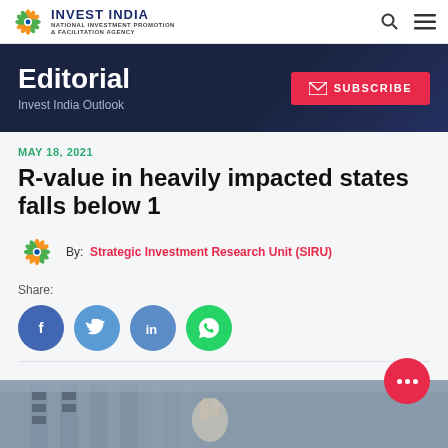Invest India — National Investment Promotion & Facilitation Agency
Editorial — Invest India Outlook
MAY 18, 2021
R-value in heavily impacted states falls below 1
By: Strategic Investment Research Unit (SIRU)
Share:
[Figure (illustration): Social share buttons: Facebook, Twitter, LinkedIn, WhatsApp]
[Figure (photo): Photo at bottom of page showing a building exterior with a hand gesture]